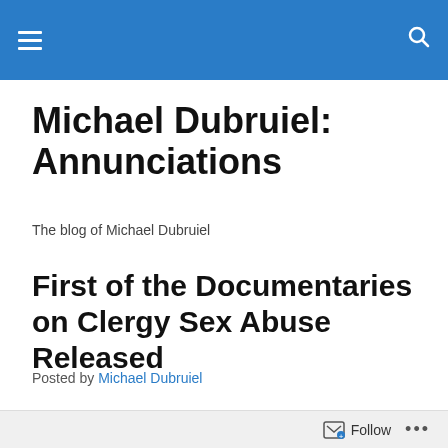Michael Dubruiel: Annunciations — navigation header bar
Michael Dubruiel: Annunciations
The blog of Michael Dubruiel
First of the Documentaries on Clergy Sex Abuse Released
Posted by Michael Dubruiel
At the Sundance Film Festival
From TWIST OF FAITH:
Follow ...